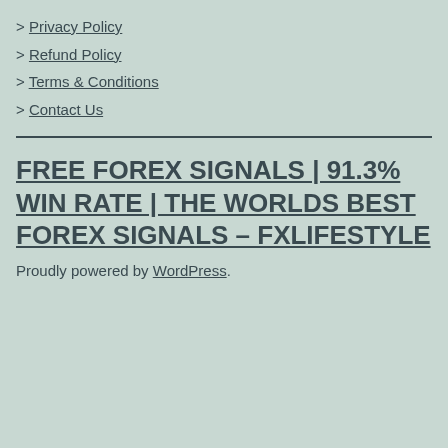> Privacy Policy
> Refund Policy
> Terms & Conditions
> Contact Us
FREE FOREX SIGNALS | 91.3% WIN RATE | THE WORLDS BEST FOREX SIGNALS – FXLIFESTYLE
Proudly powered by WordPress.